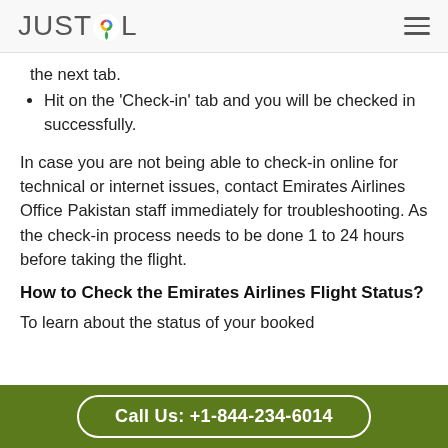JUSTCOL
the next tab.
Hit on the ‘Check-in’ tab and you will be checked in successfully.
In case you are not being able to check-in online for technical or internet issues, contact Emirates Airlines Office Pakistan staff immediately for troubleshooting. As the check-in process needs to be done 1 to 24 hours before taking the flight.
How to Check the Emirates Airlines Flight Status?
To learn about the status of your booked
Call Us: +1-844-234-6014